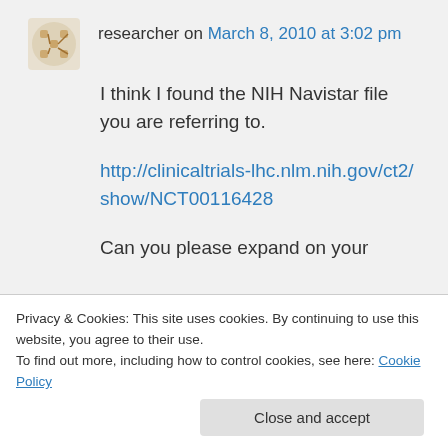researcher on March 8, 2010 at 3:02 pm
I think I found the NIH Navistar file you are referring to.
http://clinicaltrials-lhc.nlm.nih.gov/ct2/show/NCT00116428
Can you please expand on your “rigged” comment with regard to the
Privacy & Cookies: This site uses cookies. By continuing to use this website, you agree to their use. To find out more, including how to control cookies, see here: Cookie Policy
Close and accept